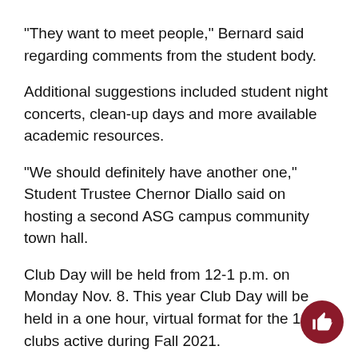“They want to meet people,” Bernard said regarding comments from the student body.
Additional suggestions included student night concerts, clean-up days and more available academic resources.
“We should definitely have another one,” Student Trustee Chernor Diallo said on hosting a second ASG campus community town hall.
Club Day will be held from 12-1 p.m. on Monday Nov. 8. This year Club Day will be held in a one hour, virtual format for the 18 clubs active during Fall 2021.
The first half will be more of an ice breaker for interested students before beginning the planned activities. ASG will also present themselves to the club
“Students are really interested in having in-person